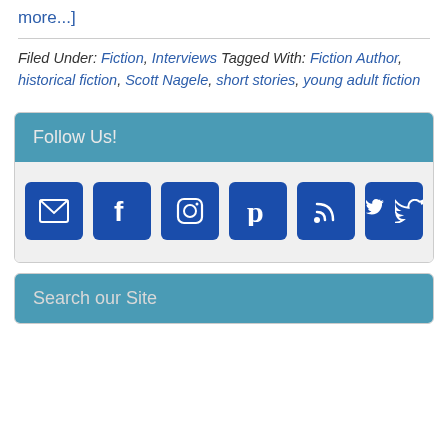more...]
Filed Under: Fiction, Interviews Tagged With: Fiction Author, historical fiction, Scott Nagele, short stories, young adult fiction
Follow Us!
[Figure (infographic): Row of six social media icon buttons: email, Facebook, Instagram, Pinterest, RSS, Twitter]
Search our Site